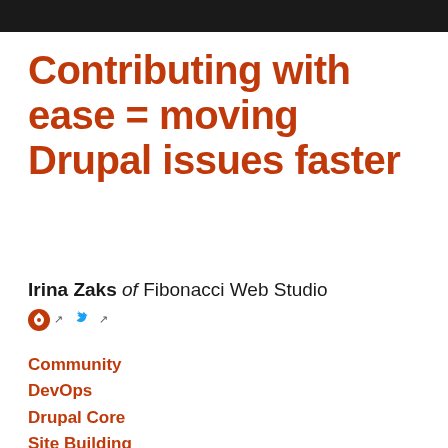Contributing with ease = moving Drupal issues faster
Irina Zaks of Fibonacci Web Studio
Community
DevOps
Drupal Core
Site Building
Drupal 9 has been happily released, and